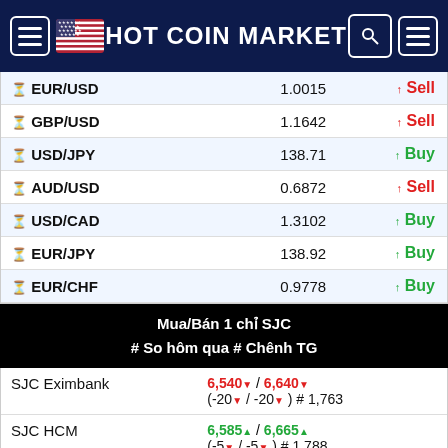HOT COIN MARKET
| Pair | Price | Action |
| --- | --- | --- |
| EUR/USD | 1.0015 | ↑ Sell |
| GBP/USD | 1.1642 | ↑ Sell |
| USD/JPY | 138.71 | ↑ Buy |
| AUD/USD | 0.6872 | ↑ Sell |
| USD/CAD | 1.3102 | ↑ Buy |
| EUR/JPY | 138.92 | ↑ Buy |
| EUR/CHF | 0.9778 | ↑ Buy |
Mua/Bán 1 chỉ SJC
# So hôm qua # Chênh TG
| Name | Values |
| --- | --- |
| SJC Eximbank | 6,540▼ / 6,640▼
(-20▼ / -20▼ ) # 1,763 |
| SJC HCM | 6,585▲ / 6,665▲
(-5▼ / -5▼ ) # 1,788 |
| SJC Hanoi | 6,585▲ / 6,667▲
(-5▼ / -5▼ ) # 1,790 |